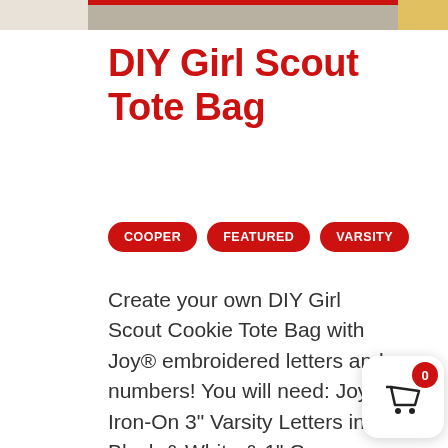[Figure (photo): Top portion of a craft/DIY image showing a Girl Scout tote bag project with red and yellow colors visible]
DIY Girl Scout Tote Bag
COOPER
FEATURED
VARSITY
Create your own DIY Girl Scout Cookie Tote Bag with Joy® embroidered letters and numbers! You will need: Joy® Iron-On 3" Varsity Letters in Black & White & 1" Cooper numbers Kunin® Felt Tote ba iron fabric glue scissors *Varsity